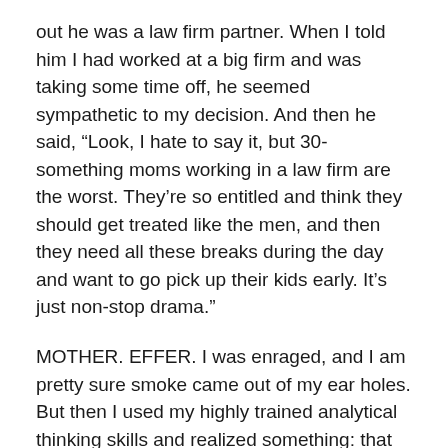out he was a law firm partner. When I told him I had worked at a big firm and was taking some time off, he seemed sympathetic to my decision. And then he said, “Look, I hate to say it, but 30-something moms working in a law firm are the worst. They’re so entitled and think they should get treated like the men, and then they need all these breaks during the day and want to go pick up their kids early. It’s just non-stop drama.”
MOTHER. EFFER. I was enraged, and I am pretty sure smoke came out of my ear holes. But then I used my highly trained analytical thinking skills and realized something: that dude was old. Like, super old. And the fact that he was saying shit like that out loud to lady strangers shows some extremely bad judgment. He is (literally) the old guard, and his days of passing over talented women